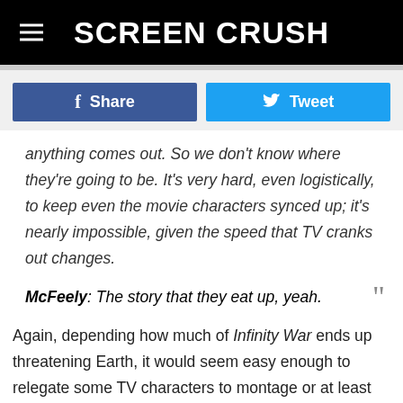Screen Crush
[Figure (infographic): Facebook Share button and Twitter Tweet button side by side]
anything comes out. So we don't know where they're going to be. It's very hard, even logistically, to keep even the movie characters synced up; it's nearly impossible, given the speed that TV cranks out changes.
McFeely: The story that they eat up, yeah.
Again, depending how much of Infinity War ends up threatening Earth, it would seem easy enough to relegate some TV characters to montage or at least acknowledge their existence, but it's certainly starting to look like the TV and movie sides will never play together.